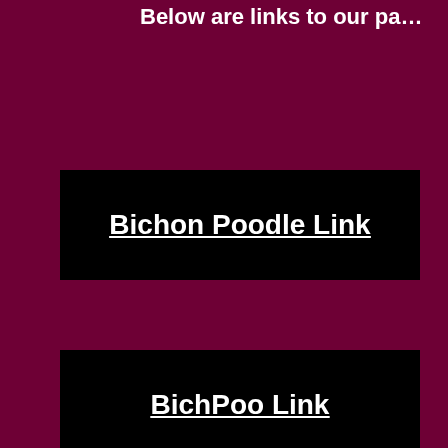Below are links to our pa…
Bichon Poodle Link
BichPoo Link
Poochon…
Home of one of the best puppies/dogs for older fo…